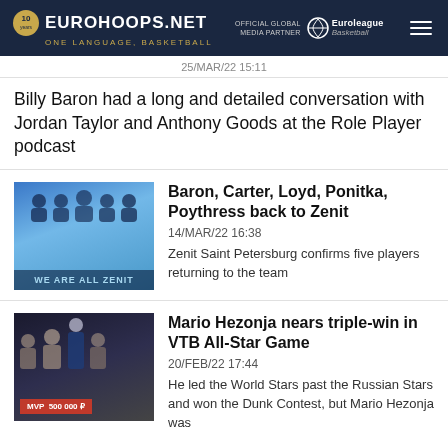EUROHOOPS.NET — ONE LANGUAGE, BASKETBALL | OFFICIAL GLOBAL MEDIA PARTNER Euroleague Basketball
25/MAR/22 15:11
Billy Baron had a long and detailed conversation with Jordan Taylor and Anthony Goods at the Role Player podcast
Baron, Carter, Loyd, Ponitka, Poythress back to Zenit
14/MAR/22 16:38
Zenit Saint Petersburg confirms five players returning to the team
Mario Hezonja nears triple-win in VTB All-Star Game
20/FEB/22 17:44
He led the World Stars past the Russian Stars and won the Dunk Contest, but Mario Hezonja was